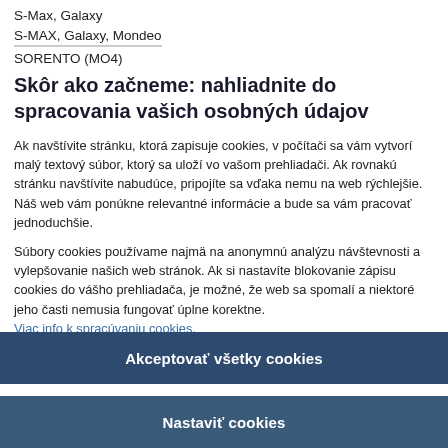S-Max, Galaxy
S-MAX, Galaxy, Mondeo
SORENTO (MO4)
Skôr ako začneme: nahliadnite do spracovania vašich osobných údajov
Ak navštívite stránku, ktorá zapisuje cookies, v počítači sa vám vytvorí malý textový súbor, ktorý sa uloží vo vašom prehliadači. Ak rovnakú stránku navštívite nabudúce, pripojíte sa vďaka nemu na web rýchlejšie. Náš web vám ponúkne relevantné informácie a bude sa vám pracovať jednoduchšie.
Súbory cookies používame najmä na anonymnú analýzu návštevnosti a vylepšovanie našich web stránok. Ak si nastavíte blokovanie zápisu cookies do vášho prehliadača, je možné, že web sa spomalí a niektoré jeho časti nemusia fungovať úplne korektne. Viac info k spracúvaniu cookies.
Akceptovať všetky cookies
Nastaviť cookies